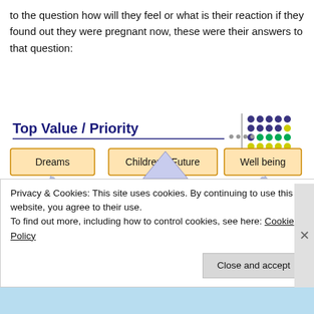to the question how will they feel or what is their reaction if they found out they were pregnant now, these were their answers to that question:
[Figure (infographic): Infographic showing 'Top Value / Priority' with three boxes labeled Dreams, Children's Future, and Well being. Below is a pink/red chevron arrow pointing right containing a bee illustration and text: 'Unplanned Pregnancy (FP failure) = DISRUPTION > Delay achieving dreams'. Curved arrows point upward from the chevron toward each of the three value boxes. A dot grid legend appears in the top right corner.]
Privacy & Cookies: This site uses cookies. By continuing to use this website, you agree to their use.
To find out more, including how to control cookies, see here: Cookie Policy
Close and accept